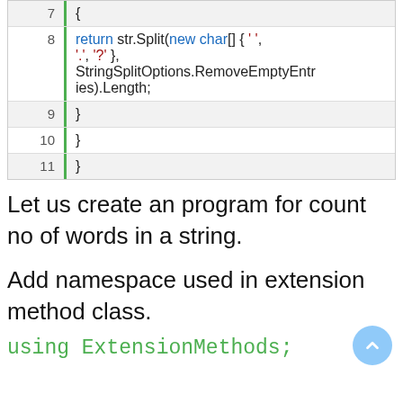[Figure (screenshot): Code block showing lines 7–11 of a C# method. Line 7: '{', Line 8: 'return str.Split(new char[] { \' \', \'.\', \'?\' }, StringSplitOptions.RemoveEmptyEntries).Length;', Line 9: '}', Line 10: '}', Line 11: '}']
Let us create an program for count no of words in a string.
Add namespace used in extension method class.
using ExtensionMethods;